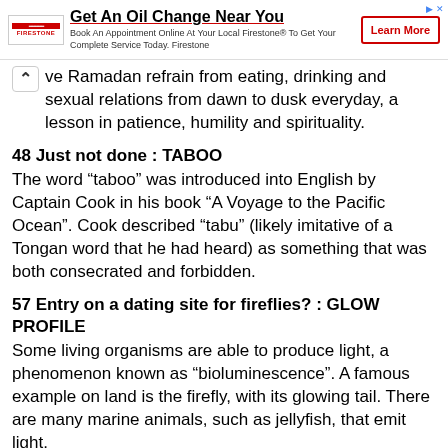[Figure (screenshot): Firestone advertisement banner: 'Get An Oil Change Near You' with logo, description text, and Learn More button]
ve Ramadan refrain from eating, drinking and sexual relations from dawn to dusk everyday, a lesson in patience, humility and spirituality.
48 Just not done : TABOO
The word “taboo” was introduced into English by Captain Cook in his book “A Voyage to the Pacific Ocean”. Cook described “tabu” (likely imitative of a Tongan word that he had heard) as something that was both consecrated and forbidden.
57 Entry on a dating site for fireflies? : GLOW PROFILE
Some living organisms are able to produce light, a phenomenon known as “bioluminescence”. A famous example on land is the firefly, with its glowing tail. There are many marine animals, such as jellyfish, that emit light.